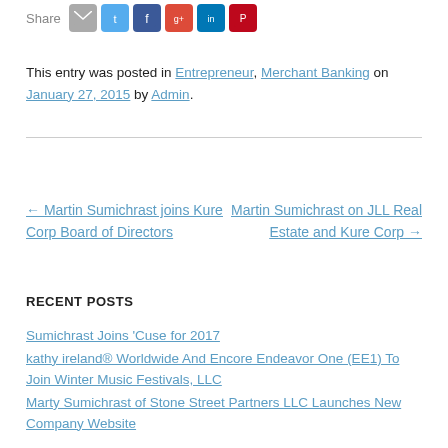Share [email] [twitter] [facebook] [google+] [linkedin] [pinterest]
This entry was posted in Entrepreneur, Merchant Banking on January 27, 2015 by Admin.
← Martin Sumichrast joins Kure Corp Board of Directors
Martin Sumichrast on JLL Real Estate and Kure Corp →
RECENT POSTS
Sumichrast Joins 'Cuse for 2017
kathy ireland® Worldwide And Encore Endeavor One (EE1) To Join Winter Music Festivals, LLC
Marty Sumichrast of Stone Street Partners LLC Launches New Company Website